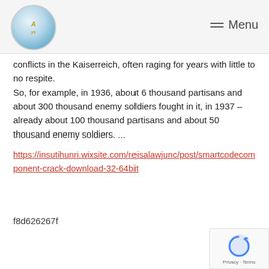Menu
conflicts in the Kaiserreich, often raging for years with little to no respite.
So, for example, in 1936, about 6 thousand partisans and about 300 thousand enemy soldiers fought in it, in 1937 – already about 100 thousand partisans and about 50 thousand enemy soldiers. ...
https://insutihunri.wixsite.com/reisalawjunc/post/smartcodecomponent-crack-download-32-64bit
f8d626267f